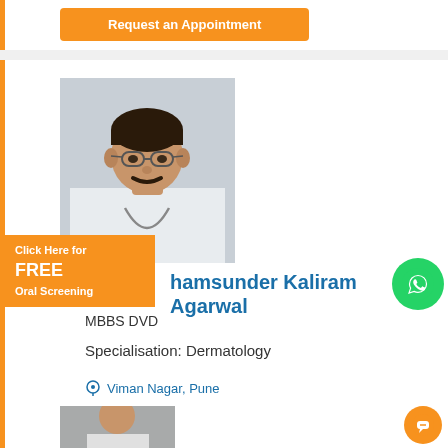[Figure (other): Orange 'Request an Appointment' button at the top of the page (partially visible card above)]
[Figure (photo): Photo of Dr. Shamsunder Kaliram Agarwal, a male doctor wearing white coat and stethoscope, with glasses]
Click Here for FREE Oral Screening
Shamsunder Kaliram Agarwal
MBBS DVD
Specialisation: Dermatology
Viman Nagar, Pune
Request an Appointment
[Figure (photo): Partially visible photo at bottom of another doctor card]